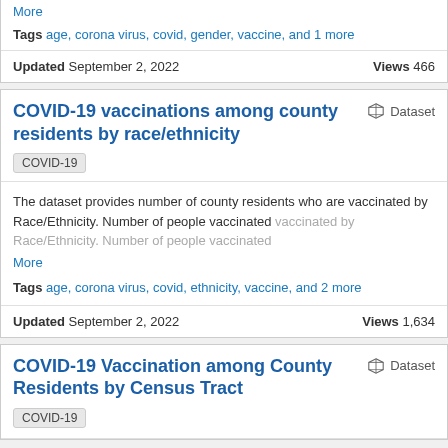More
Tags  age, corona virus, covid, gender, vaccine, and 1 more
Updated September 2, 2022   Views 466
COVID-19 vaccinations among county residents by race/ethnicity
Dataset
COVID-19
The dataset provides number of county residents who are vaccinated by Race/Ethnicity. Number of people vaccinated More
Tags  age, corona virus, covid, ethnicity, vaccine, and 2 more
Updated September 2, 2022   Views 1,634
COVID-19 Vaccination among County Residents by Census Tract
Dataset
COVID-19